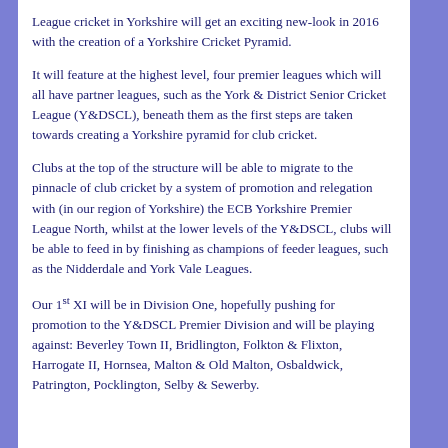League cricket in Yorkshire will get an exciting new-look in 2016 with the creation of a Yorkshire Cricket Pyramid.
It will feature at the highest level, four premier leagues which will all have partner leagues, such as the York & District Senior Cricket League (Y&DSCL), beneath them as the first steps are taken towards creating a Yorkshire pyramid for club cricket.
Clubs at the top of the structure will be able to migrate to the pinnacle of club cricket by a system of promotion and relegation with (in our region of Yorkshire) the ECB Yorkshire Premier League North, whilst at the lower levels of the Y&DSCL, clubs will be able to feed in by finishing as champions of feeder leagues, such as the Nidderdale and York Vale Leagues.
Our 1st XI will be in Division One, hopefully pushing for promotion to the Y&DSCL Premier Division and will be playing against: Beverley Town II, Bridlington, Folkton & Flixton, Harrogate II, Hornsea, Malton & Old Malton, Osbaldwick, Patrington, Pocklington, Selby & Sewerby.